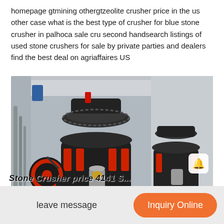homepage gtmining othergtzeolite crusher price in the us other case what is the best type of crusher for blue stone crusher in palhoca sale cru second handsearch listings of used stone crushers for sale by private parties and dealers find the best deal on agriaffaires US
[Figure (photo): Industrial cone crusher machines in a factory/warehouse setting. Two large black and red cone crushers visible, with a flywheel on the left side. The machines are mounted on metal frames on a concrete floor. Industrial structure visible in background.]
leave message
Inquiry Online
Stone Crusher price 4141 S...